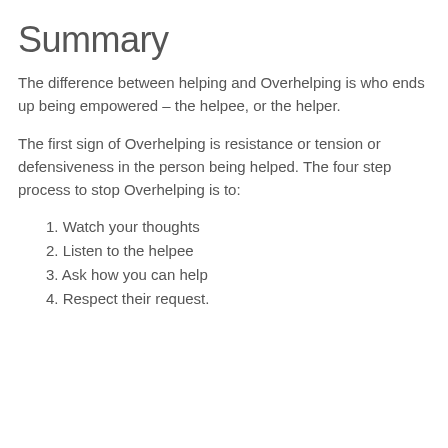Summary
The difference between helping and Overhelping is who ends up being empowered – the helpee, or the helper.
The first sign of Overhelping is resistance or tension or defensiveness in the person being helped. The four step process to stop Overhelping is to:
1. Watch your thoughts
2. Listen to the helpee
3. Ask how you can help
4. Respect their request.